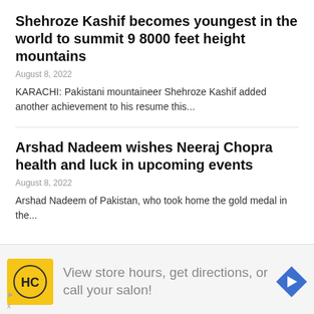Shehroze Kashif becomes youngest in the world to summit 9 8000 feet height mountains
August 8, 2022
KARACHI: Pakistani mountaineer Shehroze Kashif added another achievement to his resume this...
Arshad Nadeem wishes Neeraj Chopra health and luck in upcoming events
August 8, 2022
Arshad Nadeem of Pakistan, who took home the gold medal in the...
[Figure (infographic): Advertisement banner with HC logo and text: View store hours, get directions, or call your salon!]